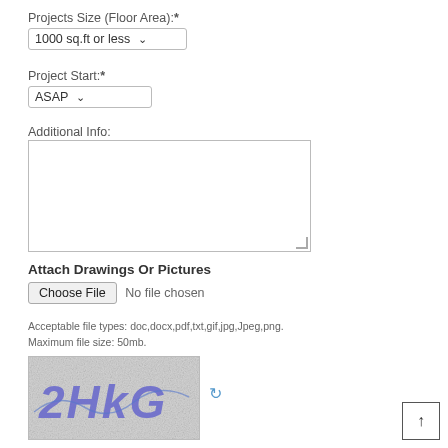Projects Size (Floor Area):*
[Figure (screenshot): Dropdown selector showing '1000 sq.ft or less' with a down arrow]
Project Start:*
[Figure (screenshot): Dropdown selector showing 'ASAP' with a down arrow]
Additional Info:
[Figure (screenshot): Empty textarea input box with resize handle]
Attach Drawings Or Pictures
[Figure (screenshot): File input: 'Choose File' button followed by 'No file chosen' text]
Acceptable file types: doc,docx,pdf,txt,gif,jpg,Jpeg,png.
Maximum file size: 50mb.
[Figure (other): CAPTCHA image showing '2HkG' in blue stylized text on a noisy background, with a refresh icon]